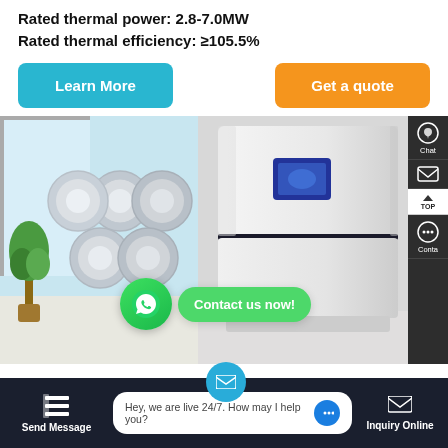Rated thermal power: 2.8-7.0MW
Rated thermal efficiency: ≥105.5%
Learn More
Get a quote
[Figure (photo): Product photo of a white wall-mounted condensing boiler unit shown in an interior setting with decorative cylindrical barrels/display on the left. WhatsApp contact bubble overlay and sidebar navigation icons on the right.]
Contact us now!
Hey, we are live 24/7. How may I help you?
Send Message
Inquiry Online